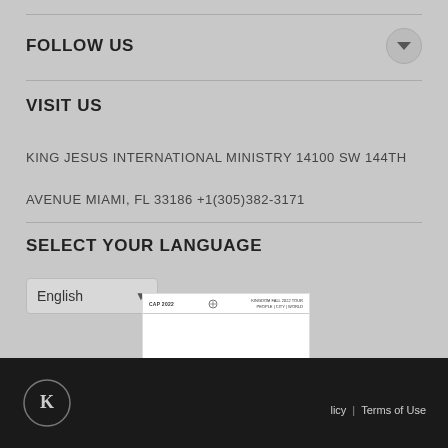FOLLOW US
VISIT US
KING JESUS INTERNATIONAL MINISTRY 14100 SW 144TH AVENUE MIAMI, FL 33186 +1(305)382-3171
SELECT YOUR LANGUAGE
English
[Figure (other): Days of Glory event poster - CAP 2022, OCT. 14-15, KING JESUS MIAMI]
licy | Terms of Use